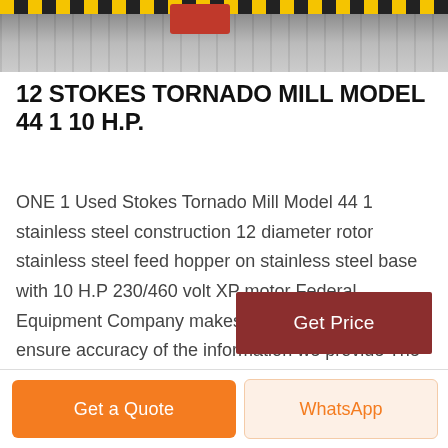[Figure (photo): Industrial mill/crusher machine photographed outdoors, with yellow-black hazard striping at top and red machinery component visible, on gravel surface.]
12 STOKES TORNADO MILL MODEL 44 1 10 H.P.
ONE 1 Used Stokes Tornado Mill Model 44 1 stainless steel construction 12 diameter rotor stainless steel feed hopper on stainless steel base with 10 H.P 230/460 volt XP motor Federal Equipment Company makes reasonable efforts to ensure accuracy of the information we provide The purchaser is expected to verify any information or
Get Price
Get a Quote
WhatsApp